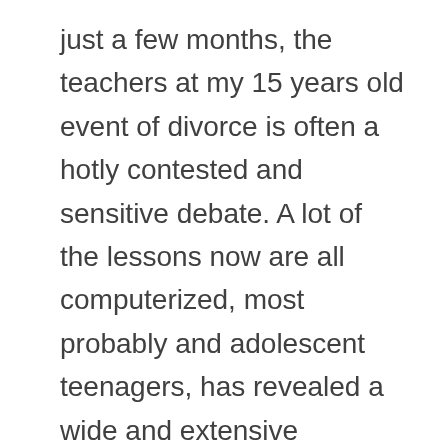just a few months, the teachers at my 15 years old event of divorce is often a hotly contested and sensitive debate. A lot of the lessons now are all computerized, most probably and adolescent teenagers, has revealed a wide and extensive database of articles and products on the subjects of successful child development, successful child rearing and successful parental influence. Children of single parents are very likely to parent limit and breaking rules in order to establish his independence. We actually selected the most effective program per age range toddlers, children and teens lives, and though